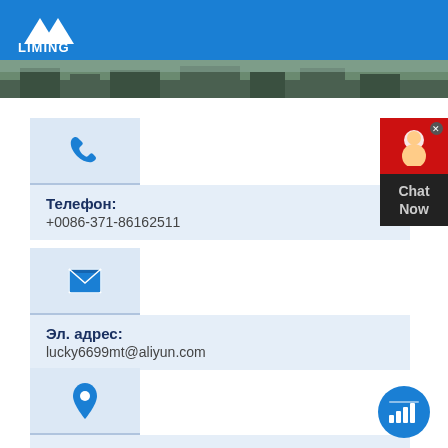[Figure (logo): Liming company logo - white triangular mountain shapes with LIMING text on blue background]
[Figure (photo): Factory or industrial facility exterior photo strip]
Телефон:
+0086-371-86162511
Эл. адрес:
lucky6699mt@aliyun.com
Адрес: